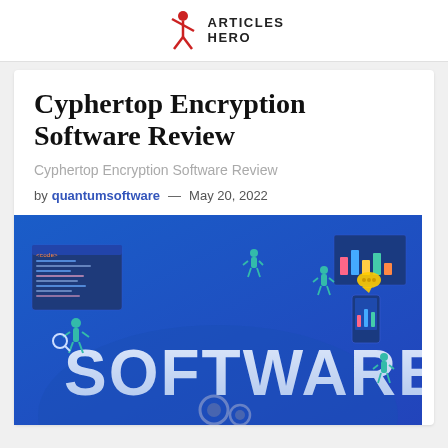ARTICLES HERO
Cyphertop Encryption Software Review
Cyphertop Encryption Software Review
by quantumsoftware — May 20, 2022
[Figure (illustration): Isometric illustration of people working around large 3D 'SOFTWARE' text letters on a blue background, with code editors, charts, mobile devices, and gear icons]